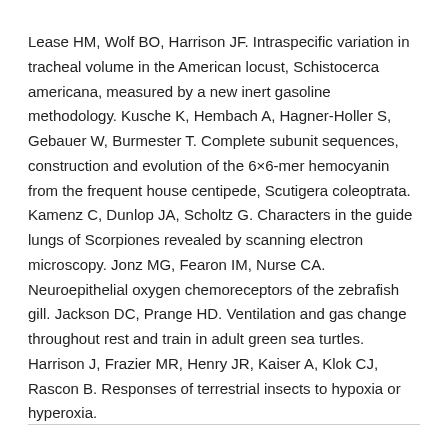Lease HM, Wolf BO, Harrison JF. Intraspecific variation in tracheal volume in the American locust, Schistocerca americana, measured by a new inert gasoline methodology. Kusche K, Hembach A, Hagner-Holler S, Gebauer W, Burmester T. Complete subunit sequences, construction and evolution of the 6×6-mer hemocyanin from the frequent house centipede, Scutigera coleoptrata. Kamenz C, Dunlop JA, Scholtz G. Characters in the guide lungs of Scorpiones revealed by scanning electron microscopy. Jonz MG, Fearon IM, Nurse CA. Neuroepithelial oxygen chemoreceptors of the zebrafish gill. Jackson DC, Prange HD. Ventilation and gas change throughout rest and train in adult green sea turtles. Harrison J, Frazier MR, Henry JR, Kaiser A, Klok CJ, Rascon B. Responses of terrestrial insects to hypoxia or hyperoxia.